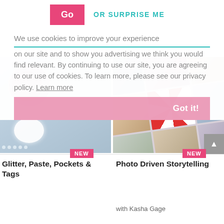Go | OR SURPRISE ME
We use cookies to improve your experience on our site and to show you advertising we think you would find relevant. By continuing to use our site, you are agreeing to our use of cookies. To learn more, please see our privacy policy. Learn more
Got it!
[Figure (photo): Embossed white floral craft paper with circular photo inset and pearl embellishments]
[Figure (photo): Collage of scattered photos arranged at an angle showing various subjects]
NEW
NEW
Glitter, Paste, Pockets & Tags
Photo Driven Storytelling
with Kasha Gage